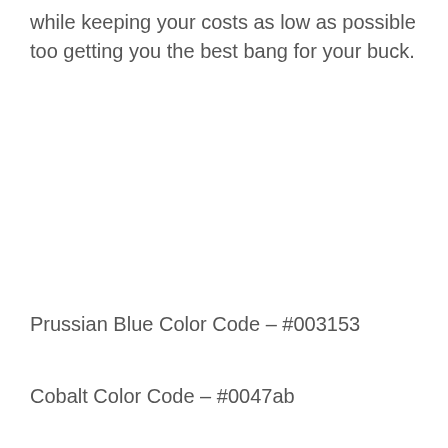while keeping your costs as low as possible too getting you the best bang for your buck.
Prussian Blue Color Code – #003153
Cobalt Color Code – #0047ab